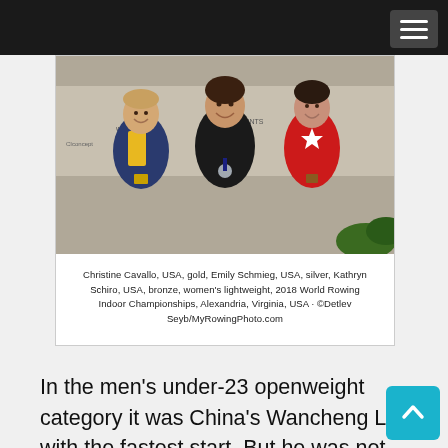[Figure (photo): Three female athletes posing together holding medals at the 2018 World Rowing Indoor Championships. Left athlete wears a yellow and navy sleeveless top with a gold medal, center athlete wears a black top with a silver medal, right athlete wears a red top with a white star and a bronze medal. A World Rowing branded backdrop is visible behind them.]
Christine Cavallo, USA, gold, Emily Schmieg, USA, silver, Kathryn Schiro, USA, bronze, women's lightweight, 2018 World Rowing Indoor Championships, Alexandria, Virginia, USA · ©Detlev Seyb/MyRowingPhoto.com
In the men's under-23 openweight category it was China's Wancheng Liu with the fastest start. But he was not able to hold the pace as Andrew Knoll got into his rhythm. Knoll's goal